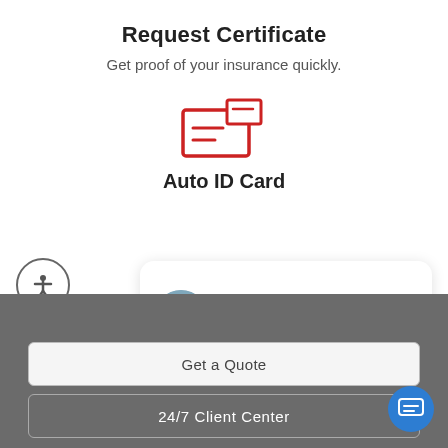Request Certificate
Get proof of your insurance quickly.
[Figure (illustration): Red icon of an ID card/certificate with lines representing text and a smaller card overlapping.]
Auto ID Card
Hi there, have a question? Text us here.
Get a Quote
24/7 Client Center